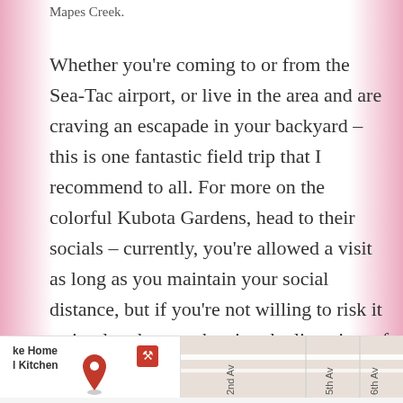Mapes Creek.
Whether you're coming to or from the Sea-Tac airport, or live in the area and are craving an escapade in your backyard – this is one fantastic field trip that I recommend to all. For more on the colorful Kubota Gardens, head to their socials – currently, you're allowed a visit as long as you maintain your social distance, but if you're not willing to risk it – simply take a peak using the live view of Google Maps!
Website | Facebook | Twitter | Instagram
[Figure (map): Partial Google Maps screenshot showing street map with labels including 'ke Home Kitchen', '2nd A', '5th A', '6th A' and a red location pin]